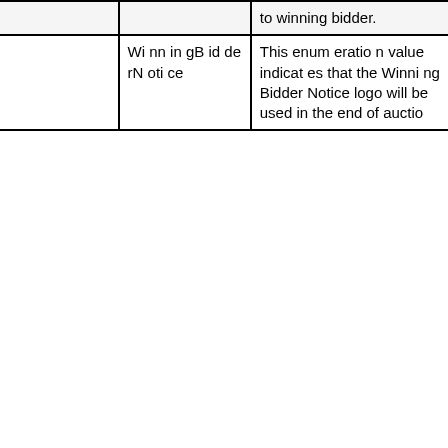|  | to winning bidder. |
| WinningBidderNotice | This enumeration value indicates that the Winning Bidder Notice logo will be used in the end of auctio |